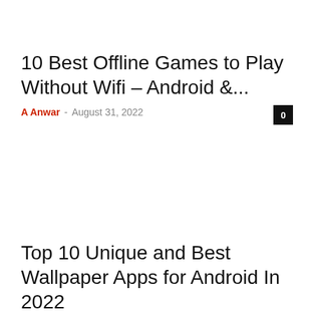10 Best Offline Games to Play Without Wifi – Android &...
A Anwar – August 31, 2022   0
Top 10 Unique and Best Wallpaper Apps for Android In 2022